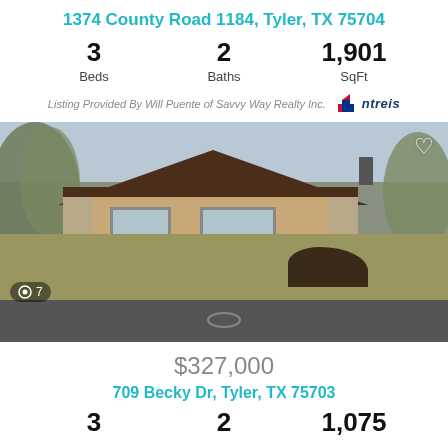1374 County Road 1184, Tyler, TX 75704
3 Beds   2 Baths   1,901 SqFt
Listing Provided By Will Puente of Savvy Way Realty Inc. ntreis
[Figure (photo): Exterior photo of a single-story brick ranch-style house with brown roof, green lawn, bare trees, street visible in foreground. Photo counter shows 7 images.]
$327,000
709 Becky Dr, Tyler, TX 75703
3   2   1,075